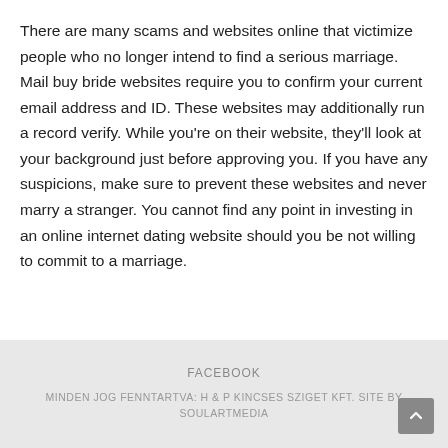There are many scams and websites online that victimize people who no longer intend to find a serious marriage. Mail buy bride websites require you to confirm your current email address and ID. These websites may additionally run a record verify. While you're on their website, they'll look at your background just before approving you. If you have any suspicions, make sure to prevent these websites and never marry a stranger. You cannot find any point in investing in an online internet dating website should you be not willing to commit to a marriage.
FACEBOOK
MINDEN JOG FENNTARTVA: H & P KINCSES SZIGET KFT. SITE BY SOULARTMEDIA